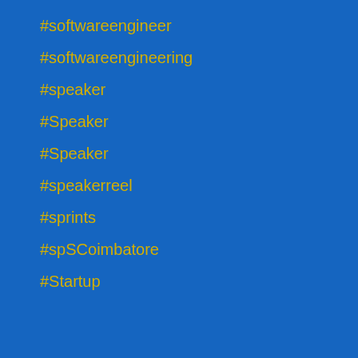#softwareengineer
#softwareengineering
#speaker
#Speaker
#Speaker
#speakerreel
#sprints
#spSCoimbatore
#Startup